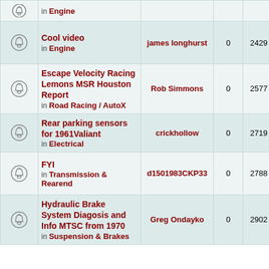|  | Topic | Author | Replies | Views | Last Post |
| --- | --- | --- | --- | --- | --- |
| [bell] | Cool video
in Engine | james longhurst | 0 | 2429 | Sun Nov 21,
9:52 am
james longhurst |
| [bell] | Escape Velocity Racing Lemons MSR Houston Report
in Road Racing / AutoX | Rob Simmons | 0 | 2577 | Fri Nov 19,
6:27 am
Rob Simmons |
| [bell] | Rear parking sensors for 1961Valiant
in Electrical | crickhollow | 0 | 2719 | Sun Nov 07,
1:52 am
crickhollow |
| [bell] | FYI
in Transmission & Rearend | d1501983CKP33 | 0 | 2788 | Sun Oct 24,
7:50 pm
d1501983CK |
| [bell] | Hydraulic Brake System Diagosis and Info MTSC from 1970
in Suspension & Brakes | Greg Ondayko | 0 | 2902 | Mon Oct 18,
11:49 am
Greg Ondayko |